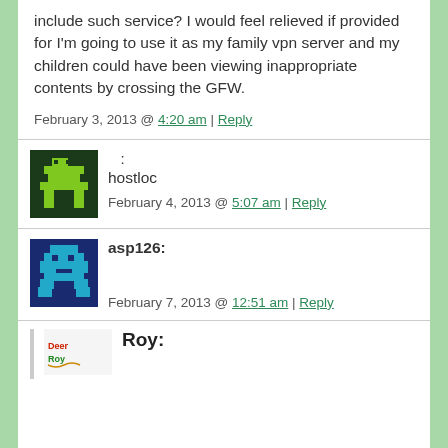include such service?  I would feel relieved if provided for I'm going to use it as my family vpn server and my children could have been viewing inappropriate contents by crossing the GFW.
February 3, 2013 @ 4:20 am | Reply
: hostloc
February 4, 2013 @ 5:07 am | Reply
asp126:
February 7, 2013 @ 12:51 am | Reply
Roy: